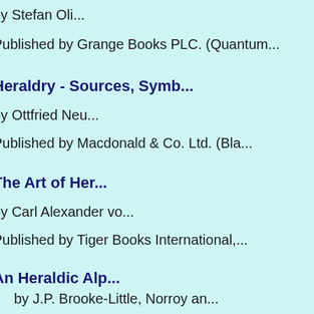by Stefan Oli...
Published by Grange Books PLC. (Quantum...
Heraldry - Sources, Symb...
by Ottfried Neu...
Published by Macdonald & Co. Ltd. (Bla...
The Art of Her...
by Carl Alexander vo...
Published by Tiger Books International,...
An Heraldic Alp...
by J.P. Brooke-Little, Norroy an...
Published by Robson Books Ltd.